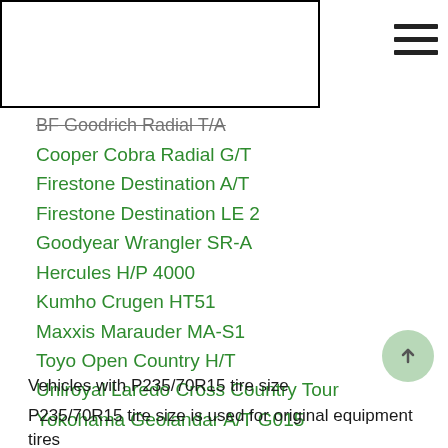BF Goodrich Radial T/A
Cooper Cobra Radial G/T
Firestone Destination A/T
Firestone Destination LE 2
Goodyear Wrangler SR-A
Hercules H/P 4000
Kumho Crugen HT51
Maxxis Marauder MA-S1
Toyo Open Country H/T
Uniroyal Laredo Cross Country Tour
Yokohama Geolandar A/T G015
Vehicles with P235/70R15 tire size
P235/70R15 tire size is used for original equipment tires